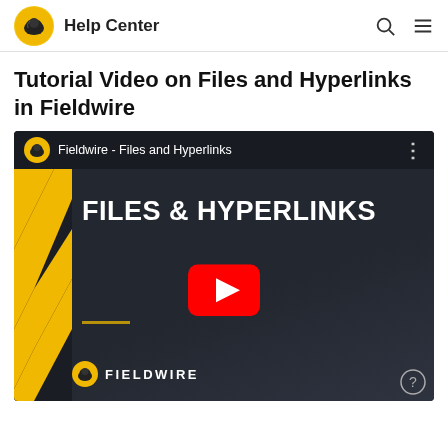Help Center
Tutorial Video on Files and Hyperlinks in Fieldwire
[Figure (screenshot): YouTube video thumbnail for Fieldwire - Files and Hyperlinks tutorial video. Shows Fieldwire logo in top-left, video title 'Fieldwire - Files and Hyperlinks', text 'FILES & HYPERLINKS' in large white bold font, a red YouTube play button in the center, a yellow horizontal line, and FIELDWIRE branding with logo at the bottom.]